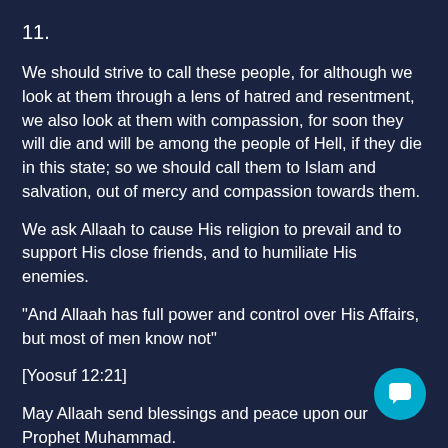11.
We should strive to call these people, for although we look at them through a lens of hatred and resentment, we also look at them with compassion, for soon they will die and will be among the people of Hell, if they die in this state; so we should call them to Islam and salvation, out of mercy and compassion towards them.
We ask Allaah to cause His religion to prevail and to support His close friends, and to humiliate His enemies.
“And Allaah has full power and control over His Affairs, but most of men know not”
[Yoosuf 12:21]
May Allaah send blessings and peace upon our Prophet Muhammad.
And Allaah knows best.